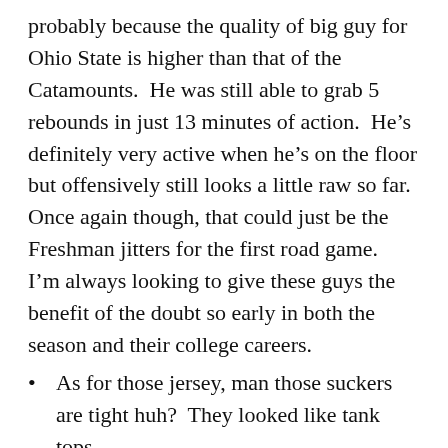probably because the quality of big guy for Ohio State is higher than that of the Catamounts.  He was still able to grab 5 rebounds in just 13 minutes of action.  He’s definitely very active when he’s on the floor but offensively still looks a little raw so far.  Once again though, that could just be the Freshman jitters for the first road game.  I’m always looking to give these guys the benefit of the doubt so early in both the season and their college careers.
As for those jersey, man those suckers are tight huh?  They looked like tank tops.
This was a very winnable game, but I can’t be too upset losing to a potential NCAA tournament team on the road.  A lot of the shots that didn’t fall last night should fall in the future.